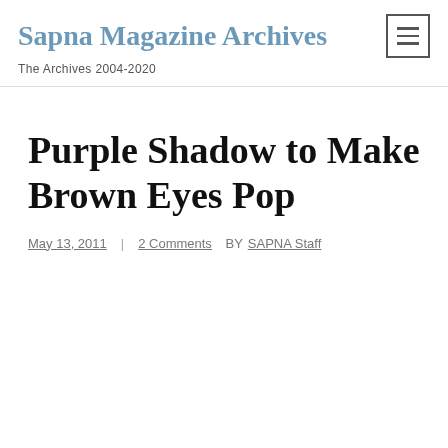Sapna Magazine Archives
The Archives 2004-2020
Purple Shadow to Make Brown Eyes Pop
May 13, 2011 | 2 Comments BY SAPNA Staff